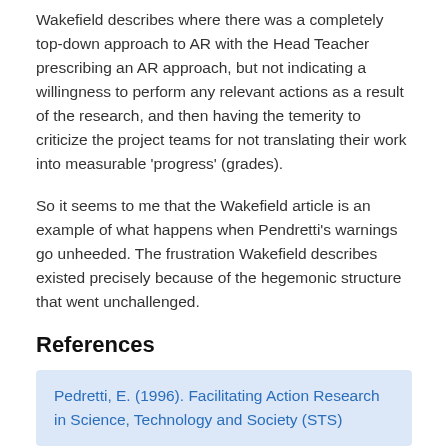Wakefield describes where there was a completely top-down approach to AR with the Head Teacher prescribing an AR approach, but not indicating a willingness to perform any relevant actions as a result of the research, and then having the temerity to criticize the project teams for not translating their work into measurable 'progress' (grades).
So it seems to me that the Wakefield article is an example of what happens when Pendretti's warnings go unheeded. The frustration Wakefield describes existed precisely because of the hegemonic structure that went unchallenged.
References
Pedretti, E. (1996). Facilitating Action Research in Science, Technology and Society (STS)